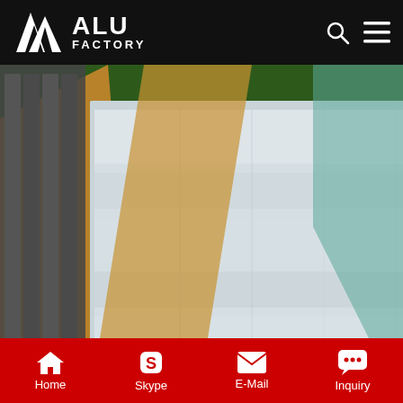ALU FACTORY
[Figure (photo): Stack of aluminum sheets wrapped in brown kraft paper and plastic film, arranged in a factory/warehouse setting with green floor visible]
Customized Corrugated Aluminum Roof Panels
Aluminum corrugated cores usually used to adhere to aluminum sheet to form corrugated aluminum panels. Aluminum corrugated core made cor rugated p anels for roofing. Aluminum corrugated core for container house roof. PackagingProtective film on the surface, then packed in
Home   Skype   E-Mail   Inquiry